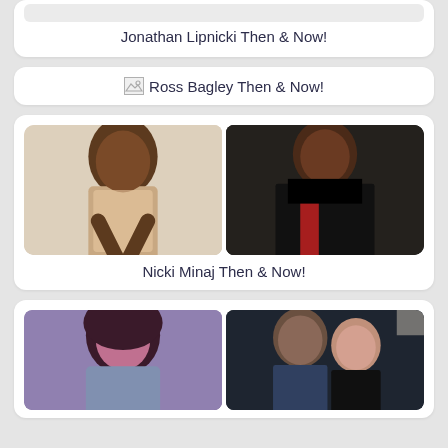[Figure (photo): Jonathan Lipnicki Then & Now card, cropped at top, white card with title text]
Jonathan Lipnicki Then & Now!
[Figure (photo): Ross Bagley Then & Now card with broken image icon]
Ross Bagley Then & Now!
[Figure (photo): Nicki Minaj Then & Now - two photos side by side, young Nicki on left in beige outfit, glamorous Nicki on right in black dress with red accent at Met Gala]
Nicki Minaj Then & Now!
[Figure (photo): Bottom card showing two photos - woman with dark curly hair on left, older couple (Dr. Phil and wife) on right, card partially cut off at bottom]